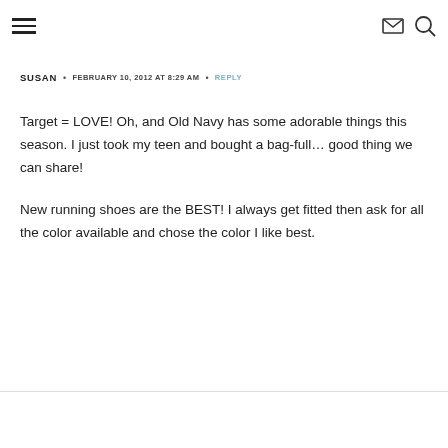≡  [mail icon] [search icon]
SUSAN • FEBRUARY 10, 2012 AT 8:29 AM • REPLY
Target = LOVE! Oh, and Old Navy has some adorable things this season. I just took my teen and bought a bag-full… good thing we can share!

New running shoes are the BEST! I always get fitted then ask for all the color available and chose the color I like best.